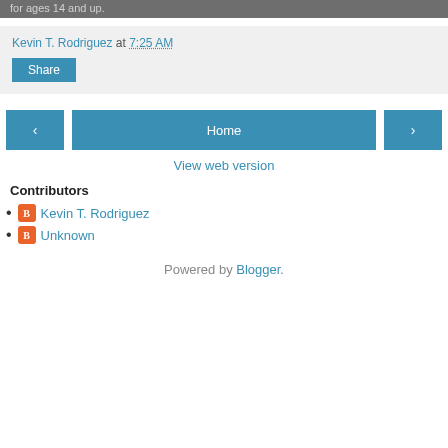for ages 14 and up.
Kevin T. Rodriguez at 7:25 AM
Share
Home
View web version
Contributors
Kevin T. Rodriguez
Unknown
Powered by Blogger.